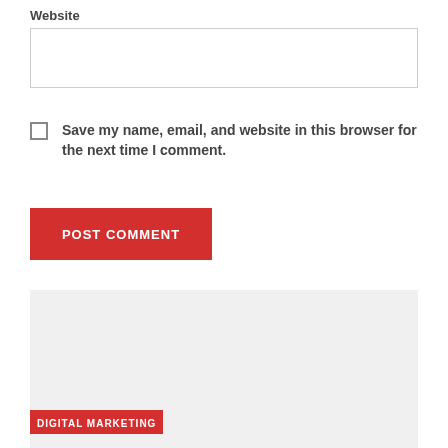Website
[Figure (screenshot): Empty text input field for Website]
Save my name, email, and website in this browser for the next time I comment.
POST COMMENT
[Figure (photo): Light gray image card with DIGITAL MARKETING tag in red at bottom left]